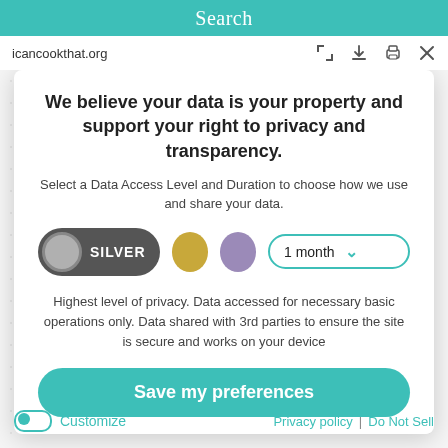Search
icancookthat.org
We believe your data is your property and support your right to privacy and transparency.
Select a Data Access Level and Duration to choose how we use and share your data.
[Figure (other): Privacy level selector with SILVER pill button (active), gold circle and purple circle options, and a '1 month' dropdown]
Highest level of privacy. Data accessed for necessary basic operations only. Data shared with 3rd parties to ensure the site is secure and works on your device
Save my preferences
Customize
Privacy policy | Do Not Sell